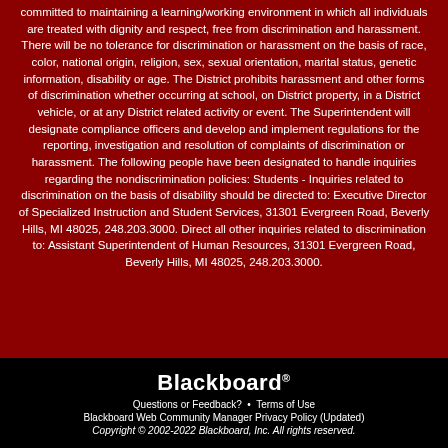committed to maintaining a learning/working environment in which all individuals are treated with dignity and respect, free from discrimination and harassment. There will be no tolerance for discrimination or harassment on the basis of race, color, national origin, religion, sex, sexual orientation, marital status, genetic information, disability or age. The District prohibits harassment and other forms of discrimination whether occurring at school, on District property, in a District vehicle, or at any District related activity or event. The Superintendent will designate compliance officers and develop and implement regulations for the reporting, investigation and resolution of complaints of discrimination or harassment. The following people have been designated to handle inquiries regarding the nondiscrimination policies: Students - Inquiries related to discrimination on the basis of disability should be directed to: Executive Director of Specialized Instruction and Student Services, 31301 Evergreen Road, Beverly Hills, MI 48025, 248.203.3000. Direct all other inquiries related to discrimination to: Assistant Superintendent of Human Resources, 31301 Evergreen Road, Beverly Hills, MI 48025, 248.203.3000.
Blackboard
Questions or Feedback? • Terms of Use
Blackboard Web Community Manager Privacy Policy (Updated)
Copyright © 2002-2022 Blackboard, Inc. All rights reserved.